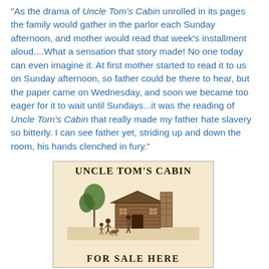"As the drama of Uncle Tom's Cabin unrolled in its pages the family would gather in the parlor each Sunday afternoon, and mother would read that week's installment aloud....What a sensation that story made! No one today can even imagine it. At first mother started to read it to us on Sunday afternoon, so father could be there to hear, but the paper came on Wednesday, and soon we became too eager for it to wait until Sundays...it was the reading of Uncle Tom's Cabin that really made my father hate slavery so bitterly. I can see father yet, striding up and down the room, his hands clenched in fury."
[Figure (illustration): A book cover/advertisement poster for 'Uncle Tom's Cabin For Sale Here' with a sepia-toned illustration of a log cabin with figures in front of it, printed in an antique style on cream/tan background.]